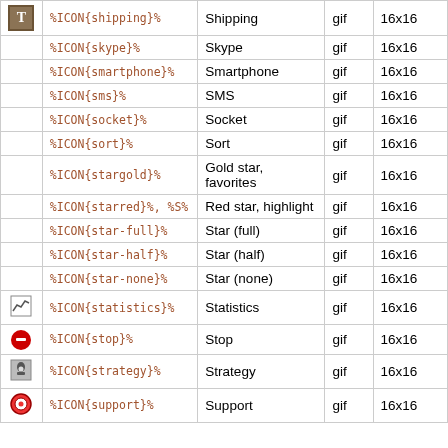| Icon | Code | Name | Type | Size |
| --- | --- | --- | --- | --- |
| [T] | %ICON{shipping}% | Shipping | gif | 16x16 |
|  | %ICON{skype}% | Skype | gif | 16x16 |
|  | %ICON{smartphone}% | Smartphone | gif | 16x16 |
|  | %ICON{sms}% | SMS | gif | 16x16 |
|  | %ICON{socket}% | Socket | gif | 16x16 |
|  | %ICON{sort}% | Sort | gif | 16x16 |
|  | %ICON{stargold}% | Gold star, favorites | gif | 16x16 |
|  | %ICON{starred}%, %S% | Red star, highlight | gif | 16x16 |
|  | %ICON{star-full}% | Star (full) | gif | 16x16 |
|  | %ICON{star-half}% | Star (half) | gif | 16x16 |
|  | %ICON{star-none}% | Star (none) | gif | 16x16 |
| [stats icon] | %ICON{statistics}% | Statistics | gif | 16x16 |
| [stop icon] | %ICON{stop}% | Stop | gif | 16x16 |
| [strategy icon] | %ICON{strategy}% | Strategy | gif | 16x16 |
| [support icon] | %ICON{support}% | Support | gif | 16x16 |